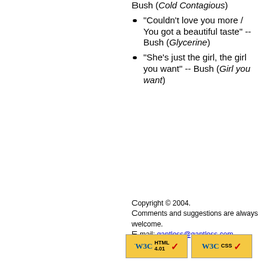Bush (Cold Contagious)
"Couldn't love you more / You got a beautiful taste" -- Bush (Glycerine)
"She's just the girl, the girl you want" -- Bush (Girl you want)
Copyright © 2004. Comments and suggestions are always welcome. E-mail: gantless@gantless.com
[Figure (logo): W3C HTML 4.01 and W3C CSS validation badges]